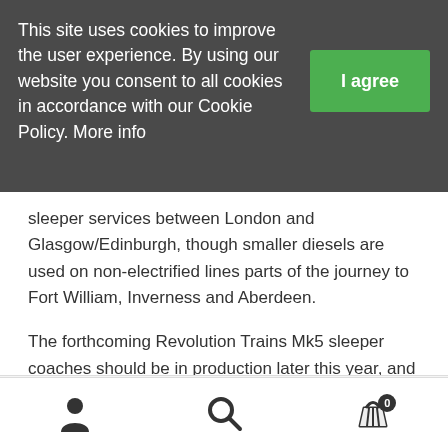This site uses cookies to improve the user experience. By using our website you consent to all cookies in accordance with our Cookie Policy. More info
sleeper services between London and Glasgow/Edinburgh, though smaller diesels are used on non-electrified lines parts of the journey to Fort William, Inverness and Aberdeen.
The forthcoming Revolution Trains Mk5 sleeper coaches should be in production later this year, and will enable full, accurate rakes to be produced.
[Figure (photo): Partial view of a model train (sleeper coach) in maroon/purple and teal livery, visible at the bottom of the page.]
Navigation bar with user account icon, search icon, and shopping basket icon with badge showing 0